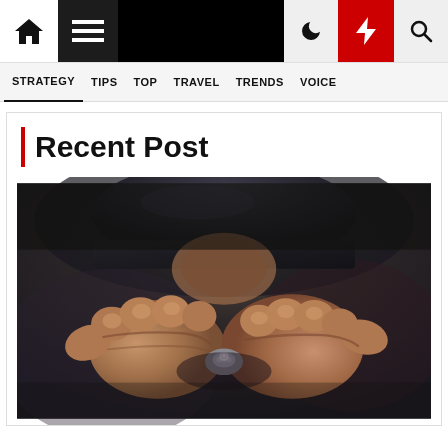Navigation bar with home, menu, moon, bolt, and search icons
STRATEGY  TIPS  TOP  TRAVEL  TRENDS  VOICE
Recent Post
[Figure (photo): Close-up photo of a jeweler or craftsman's hands working on a small metallic piece, wearing a dark cap, bending closely over their work.]